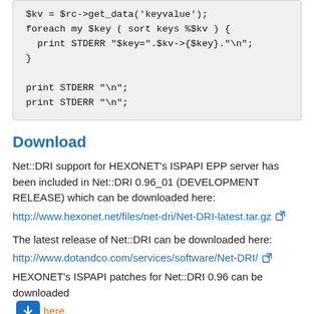$kv = $rc->get_data('keyvalue');
foreach my $key ( sort keys %$kv ) {
  print STDERR "$key=".$kv->{$key}."\n";
}

print STDERR "\n";
print STDERR "\n";
Download
Net::DRI support for HEXONET's ISPAPI EPP server has been included in Net::DRI 0.96_01 (DEVELOPMENT RELEASE) which can be downloaded here:
http://www.hexonet.net/files/net-dri/Net-DRI-latest.tar.gz
The latest release of Net::DRI can be downloaded here:
http://www.dotandco.com/services/software/Net-DRI/
HEXONET's ISPAPI patches for Net::DRI 0.96 can be downloaded here.
Disclaimers